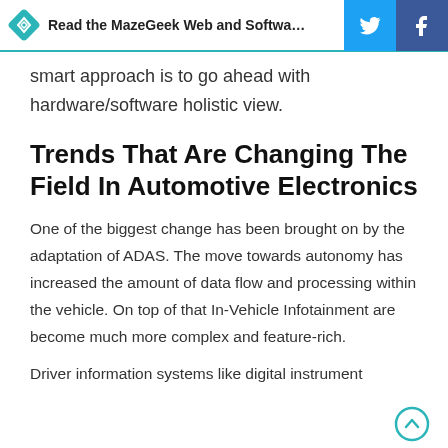Read the MazeGeek Web and Software Develop
smart approach is to go ahead with hardware/software holistic view.
Trends That Are Changing The Field In Automotive Electronics
One of the biggest change has been brought on by the adaptation of ADAS. The move towards autonomy has increased the amount of data flow and processing within the vehicle. On top of that In-Vehicle Infotainment are become much more complex and feature-rich.
Driver information systems like digital instrument